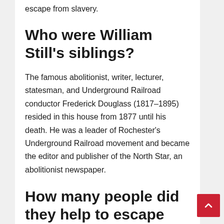escape from slavery.
Who were William Still's siblings?
The famous abolitionist, writer, lecturer, statesman, and Underground Railroad conductor Frederick Douglass (1817–1895) resided in this house from 1877 until his death. He was a leader of Rochester's Underground Railroad movement and became the editor and publisher of the North Star, an abolitionist newspaper.
How many people did they help to escape from